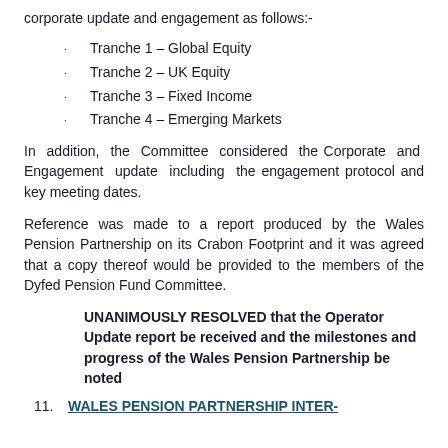corporate update and engagement as follows:-
Tranche 1 – Global Equity
Tranche 2 – UK Equity
Tranche 3 – Fixed Income
Tranche 4 – Emerging Markets
In addition, the Committee considered the Corporate and Engagement update including the engagement protocol and key meeting dates.
Reference was made to a report produced by the Wales Pension Partnership on its Crabon Footprint and it was agreed that a copy thereof would be provided to the members of the Dyfed Pension Fund Committee.
UNANIMOUSLY RESOLVED that the Operator Update report be received and the milestones and progress of the Wales Pension Partnership be noted
11.  WALES PENSION PARTNERSHIP INTER-